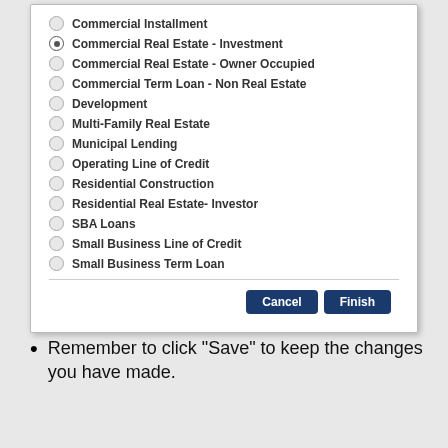[Figure (screenshot): A dialog box showing a list of radio button options for loan/credit types. 'Commercial Real Estate - Investment' is selected. Options include: Commercial Installment, Commercial Real Estate - Investment (selected), Commercial Real Estate - Owner Occupied, Commercial Term Loan - Non Real Estate, Development, Multi-Family Real Estate, Municipal Lending, Operating Line of Credit, Residential Construction, Residential Real Estate- Investor, SBA Loans, Small Business Line of Credit, Small Business Term Loan. At the bottom are Cancel and Finish buttons.]
Remember to click "Save" to keep the changes you have made.